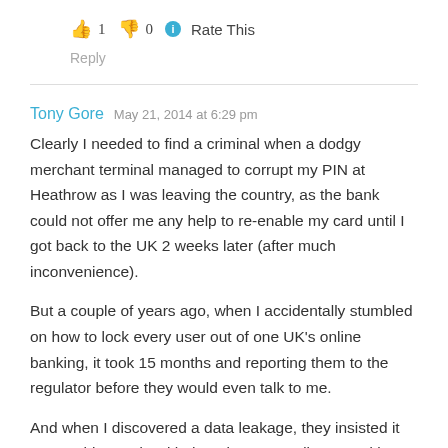👍 1 👎 0 ℹ Rate This
Reply
Tony Gore  May 21, 2014 at 6:29 pm
Clearly I needed to find a criminal when a dodgy merchant terminal managed to corrupt my PIN at Heathrow as I was leaving the country, as the bank could not offer me any help to re-enable my card until I got back to the UK 2 weeks later (after much inconvenience).
But a couple of years ago, when I accidentally stumbled on how to lock every user out of one UK's online banking, it took 15 months and reporting them to the regulator before they would even talk to me.
And when I discovered a data leakage, they insisted it was nothing to do with them because I discovered it through a link